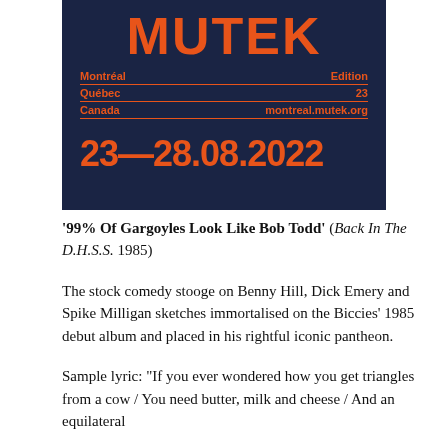[Figure (other): MUTEK festival poster with dark navy background and orange text. Shows MUTEK logo at top, then rows: Montréal / Edition, Québec / 23, Canada / montreal.mutek.org, and large date 23—28.08.2022]
'99% Of Gargoyles Look Like Bob Todd' (Back In The D.H.S.S. 1985)
The stock comedy stooge on Benny Hill, Dick Emery and Spike Milligan sketches immortalised on the Biccies' 1985 debut album and placed in his rightful iconic pantheon.
Sample lyric: "If you ever wondered how you get triangles from a cow / You need butter, milk and cheese / And an equilateral